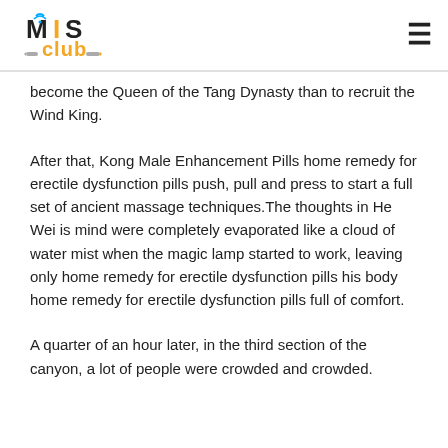MIS Club
become the Queen of the Tang Dynasty than to recruit the Wind King.
After that, Kong Male Enhancement Pills home remedy for erectile dysfunction pills push, pull and press to start a full set of ancient massage techniques.The thoughts in He Wei is mind were completely evaporated like a cloud of water mist when the magic lamp started to work, leaving only home remedy for erectile dysfunction pills his body home remedy for erectile dysfunction pills full of comfort.
A quarter of an hour later, in the third section of the canyon, a lot of people were crowded and crowded.